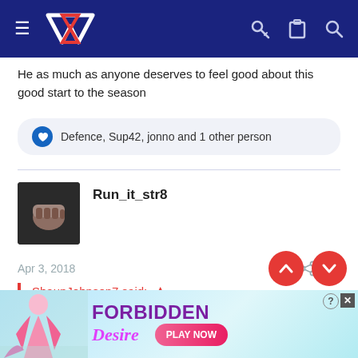NZ Warriors forum navigation bar
He as much as anyone deserves to feel good about this good start to the season
Defence, Sup42, jonno and 1 other person
Run_it_str8
Apr 3, 2018  #46
ShaunJohnson7 said:
[Figure (screenshot): Ad banner for 'Forbidden Desire' game with pink/purple text and a Play Now button]